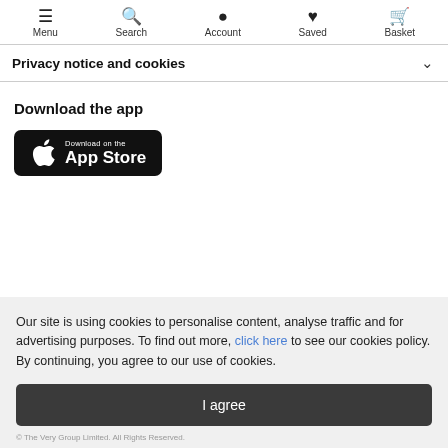Menu  Search  Account  Saved  Basket
Privacy notice and cookies
Download the app
[Figure (logo): Download on the App Store badge — black rounded rectangle with Apple logo and text 'Download on the App Store']
Our site is using cookies to personalise content, analyse traffic and for advertising purposes. To find out more, click here to see our cookies policy. By continuing, you agree to our use of cookies.
I agree
© The Very Group Limited. All Rights Reserved.